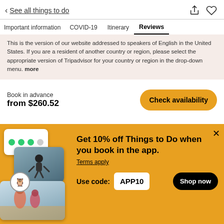< See all things to do
Important information   COVID-19   Itinerary   Reviews
This is the version of our website addressed to speakers of English in the United States. If you are a resident of another country or region, please select the appropriate version of Tripadvisor for your country or region in the drop-down menu. more
Book in advance
from $260.52
Check availability
Get 10% off Things to Do when you book in the app.
Terms apply
Use code: APP10
Shop now